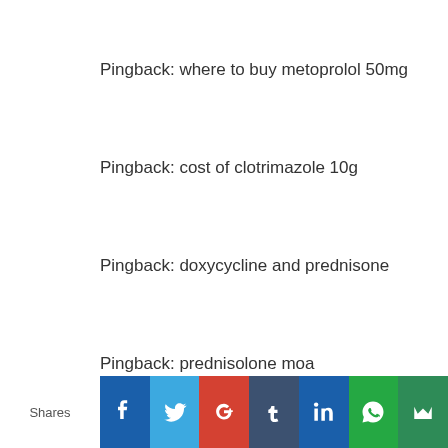Pingback: where to buy metoprolol 50mg
Pingback: cost of clotrimazole 10g
Pingback: doxycycline and prednisone
Pingback: prednisolone moa
Pingback: ovulation clomid calculator